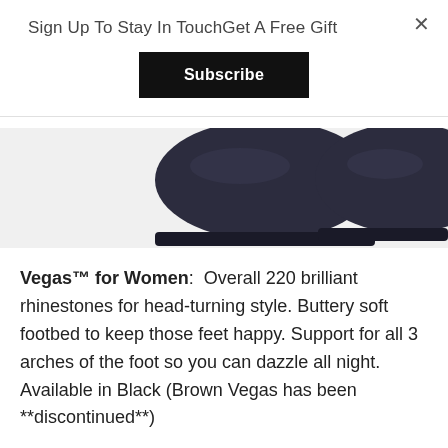Sign Up To Stay In TouchGet A Free Gift
Subscribe
[Figure (photo): Two dark navy/black women's shoes viewed from above, showing soles and tops, on a light grey background.]
Vegas™ for Women:  Overall 220 brilliant rhinestones for head-turning style. Buttery soft footbed to keep those feet happy. Support for all 3 arches of the foot so you can dazzle all night. Available in Black (Brown Vegas has been **discontinued**)